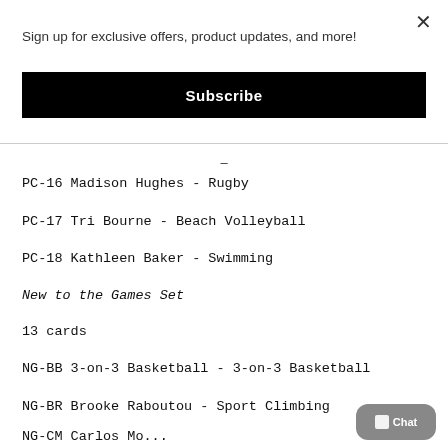Sign up for exclusive offers, product updates, and more!
Subscribe
PC-16 Madison Hughes - Rugby
PC-17 Tri Bourne - Beach Volleyball
PC-18 Kathleen Baker - Swimming
New to the Games Set
13 cards
NG-BB 3-on-3 Basketball - 3-on-3 Basketball
NG-BR Brooke Raboutou - Sport Climbing